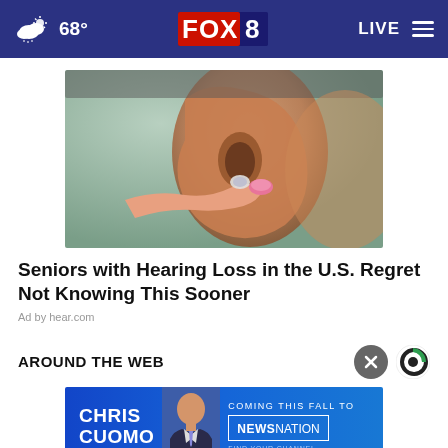68° FOX 8 LIVE
[Figure (photo): Close-up photo of a person inserting a small hearing aid into their ear, held by manicured fingers with pink nail polish]
Seniors with Hearing Loss in the U.S. Regret Not Knowing This Sooner
Ad by hear.com
AROUND THE WEB
[Figure (screenshot): Chris Cuomo advertisement banner: CHRIS CUOMO COMING THIS FALL TO NEWSNATION FIND YOUR CHANNEL]
[Figure (photo): Partial thumbnail of an article preview image at bottom]